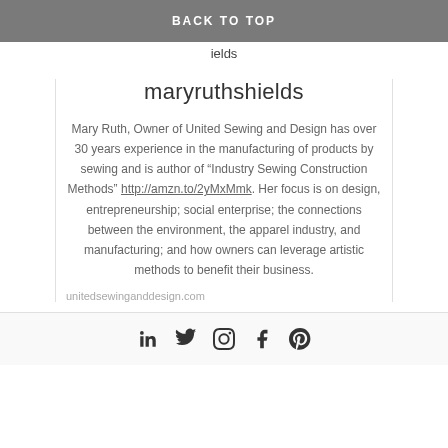BACK TO TOP
ields
maryruthshields
Mary Ruth, Owner of United Sewing and Design has over 30 years experience in the manufacturing of products by sewing and is author of "Industry Sewing Construction Methods" http://amzn.to/2yMxMmk. Her focus is on design, entrepreneurship; social enterprise; the connections between the environment, the apparel industry, and manufacturing; and how owners can leverage artistic methods to benefit their business.
unitedsewinganddesign.com
[Figure (infographic): Social media icons: LinkedIn, Twitter, Instagram, Facebook, Pinterest]